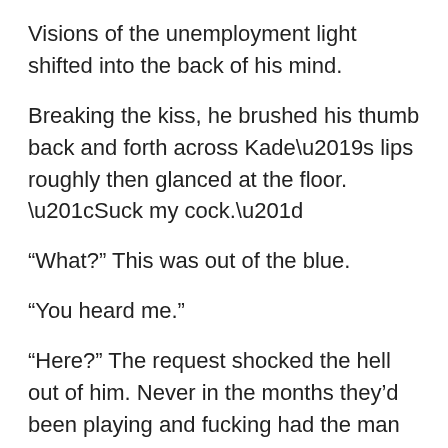Visions of the unemployment light shifted into the back of his mind.
Breaking the kiss, he brushed his thumb back and forth across Kade’s lips roughly then glanced at the floor. “Suck my cock.”
“What?” This was out of the blue.
“You heard me.”
“Here?” The request shocked the hell out of him. Never in the months they’d been playing and fucking had the man ever even so much as kissed him in the office. There were too many gossips and prying eyes to risk water cooler fader. There wasn’t a single client who would ever understand a gay relationship. Not one. They’d be the laughingstock of town if discovered.